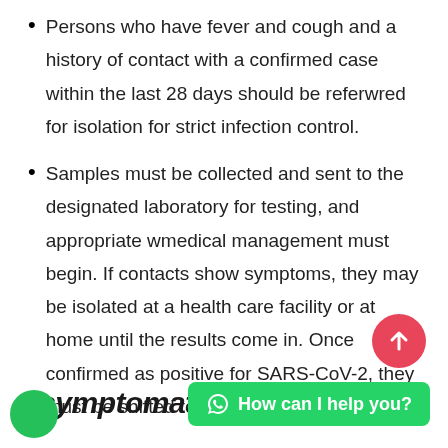Persons who have fever and cough and a history of contact with a confirmed case within the last 28 days should be referwred for isolation for strict infection control.
Samples must be collected and sent to the designated laboratory for testing, and appropriate wmedical management must begin. If contacts show symptoms, they may be isolated at a health care facility or at home until the results come in. Once confirmed as positive for SARS-CoV-2, they must be shifted to a proper health facility.
Asymptomatic co